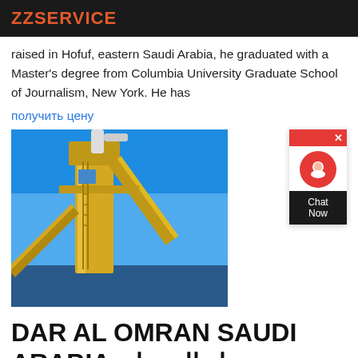ZZSERVICE
raised in Hofuf, eastern Saudi Arabia, he graduated with a Master's degree from Columbia University Graduate School of Journalism, New York. He has
получить цену
[Figure (photo): Industrial yellow crane or conveyor structure against a bright blue sky]
[Figure (other): Chat Now widget with red background and chat icon]
DAR AL OMRAN SAUDI ARABIA دار العمران LinkedIn